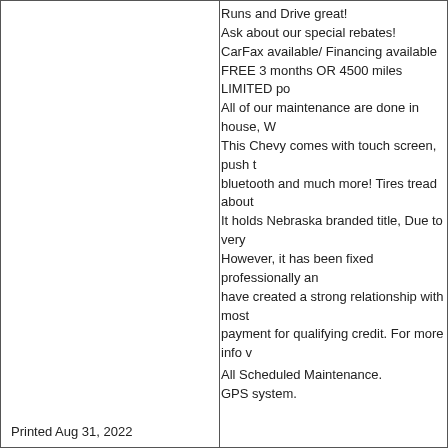Runs and Drive great! Ask about our special rebates! CarFax available/ Financing available FREE 3 months OR 4500 miles LIMITED po All of our maintenance are done in house, W This Chevy comes with touch screen, push t bluetooth and much more! Tires tread about It holds Nebraska branded title, Due to very However, it has been fixed professionally an have created a strong relationship with most payment for qualifying credit. For more info v
All Scheduled Maintenance.
GPS system.
Highway miles.
Ice cold A/C.
Looks & runs great.
Low mileage.
Records available.
New tires.
Non-smoker.
Perfect first car.
Power everything.
Runs & drives great.
Satellite radio.
Very clean interior.
Well maintained.
Printed Aug 31, 2022